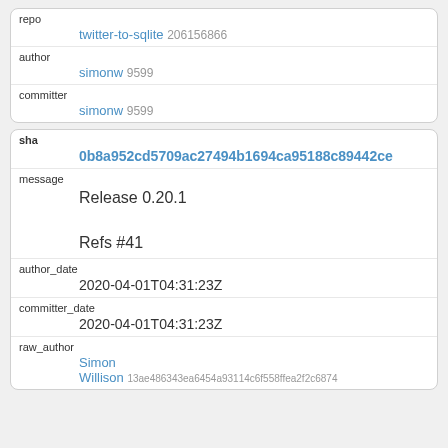| repo | twitter-to-sqlite 206156866 |
| author | simonw 9599 |
| committer | simonw 9599 |
| sha | 0b8a952cd5709ac27494b1694ca95188c89442ce |
| message | Release 0.20.1

Refs #41 |
| author_date | 2020-04-01T04:31:23Z |
| committer_date | 2020-04-01T04:31:23Z |
| raw_author | Simon
Willison 13ae486343ea6454a93114c6f558ffea2f2c6874 |